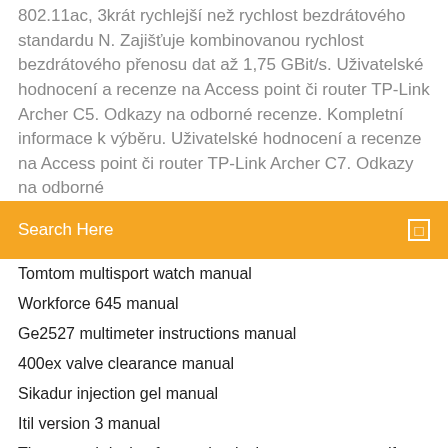802.11ac, 3krát rychlejší než rychlost bezdrátového standardu N. Zajišťuje kombinovanou rychlost bezdrátového přenosu dat až 1,75 GBit/s. Uživatelské hodnocení a recenze na Access point či router TP-Link Archer C5. Odkazy na odborné recenze. Kompletní informace k výběru. Uživatelské hodnocení a recenze na Access point či router TP-Link Archer C7. Odkazy na odborné
Search Here
Tomtom multisport watch manual
Workforce 645 manual
Ge2527 multimeter instructions manual
400ex valve clearance manual
Sikadur injection gel manual
Itil version 3 manual
Theory and design for mechanical measurements pdf
Netgear n300 wifi range extender ex2700 manual
How to connect canon mg3200 to wifi
Fallout 76 platinum edition guide